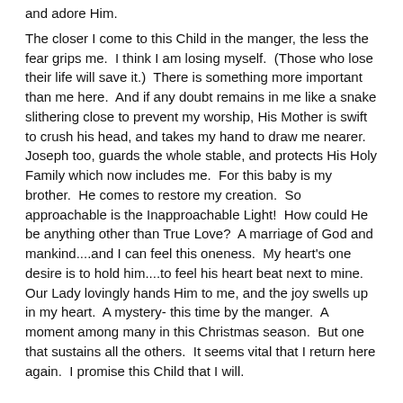and adore Him.
The closer I come to this Child in the manger, the less the fear grips me.  I think I am losing myself.  (Those who lose their life will save it.)  There is something more important than me here.  And if any doubt remains in me like a snake slithering close to prevent my worship, His Mother is swift to crush his head, and takes my hand to draw me nearer.  Joseph too, guards the whole stable, and protects His Holy Family which now includes me.  For this baby is my brother.  He comes to restore my creation.  So approachable is the Inapproachable Light!  How could He be anything other than True Love?  A marriage of God and mankind....and I can feel this oneness.  My heart's one desire is to hold him....to feel his heart beat next to mine.  Our Lady lovingly hands Him to me, and the joy swells up in my heart.  A mystery- this time by the manger.  A moment among many in this Christmas season.  But one that sustains all the others.  It seems vital that I return here again.  I promise this Child that I will.